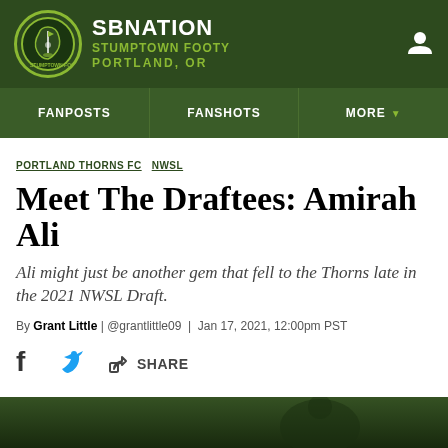SB NATION STUMPTOWN FOOTY PORTLAND, OR
FANPOSTS | FANSHOTS | MORE
PORTLAND THORNS FC NWSL
Meet The Draftees: Amirah Ali
Ali might just be another gem that fell to the Thorns late in the 2021 NWSL Draft.
By Grant Little | @grantlittle09 | Jan 17, 2021, 12:00pm PST
SHARE
[Figure (photo): Bottom strip showing dark outdoor scene, beginning of article photo]